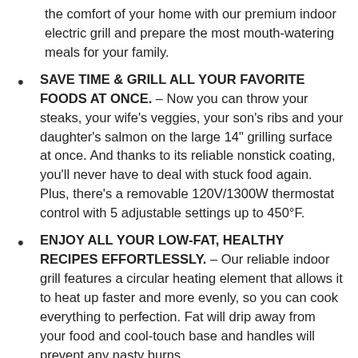the comfort of your home with our premium indoor electric grill and prepare the most mouth-watering meals for your family.
SAVE TIME & GRILL ALL YOUR FAVORITE FOODS AT ONCE. – Now you can throw your steaks, your wife's veggies, your son's ribs and your daughter's salmon on the large 14" grilling surface at once. And thanks to its reliable nonstick coating, you'll never have to deal with stuck food again. Plus, there's a removable 120V/1300W thermostat control with 5 adjustable settings up to 450°F.
ENJOY ALL YOUR LOW-FAT, HEALTHY RECIPES EFFORTLESSLY. – Our reliable indoor grill features a circular heating element that allows it to heat up faster and more evenly, so you can cook everything to perfection. Fat will drip away from your food and cool-touch base and handles will prevent any nasty burns.
DISHWASHER SAFE PARTS – We know that cleaning your grill can be extremely frustrating, that's why we've made sure that all parts of our electric grill are detachable and dishwasher safe. Now you can spend less time cleaning up and more time enjoying your delicious grilled food.
1-YEAR WARRANTY – Designed by BBQ lovers for